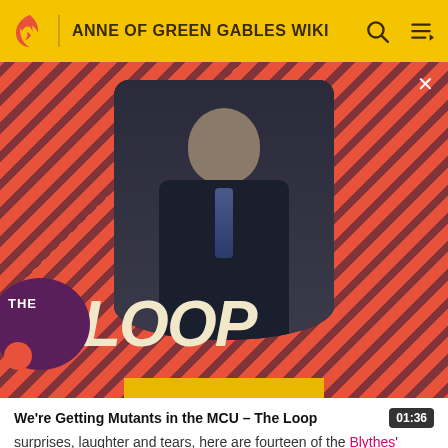ANNE OF GREEN GABLES WIKI
[Figure (screenshot): Video thumbnail overlay showing a bald man in a suit seated in a chair, against a diagonal pink/dark stripe background, with 'THE LOOP' text overlay in large white letters on a dark purple circle, and a small orange circle accent.]
We're Getting Mutants in the MCU - The Loop  01:36
surprises, laughter and tears, here are fourteen of the Blythes' favourite tales. (from the 1992 Bantam Books reissue)
Contents